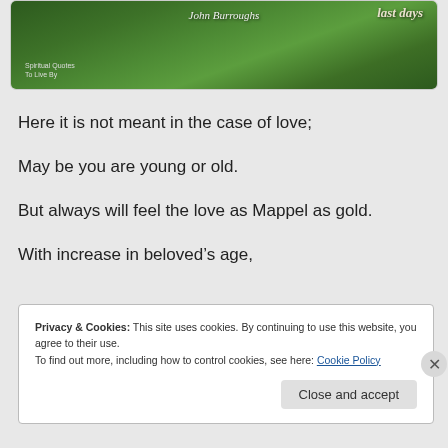[Figure (photo): Book cover image with green foliage background, author name 'John Burroughs' in italic script, and title 'last days' visible at top right with 'Spiritual Quotes To Live By' text]
Here it is not meant in the case of love;
May be you are young or old.
But always will feel the love as Mappel as gold.
With increase in beloved’s age,
Privacy & Cookies: This site uses cookies. By continuing to use this website, you agree to their use.
To find out more, including how to control cookies, see here: Cookie Policy
Close and accept